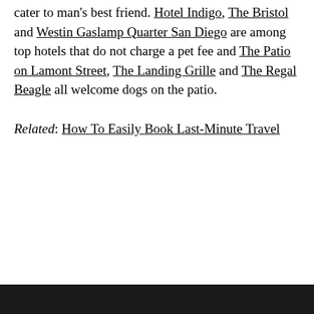cater to man's best friend. Hotel Indigo, The Bristol and Westin Gaslamp Quarter San Diego are among top hotels that do not charge a pet fee and The Patio on Lamont Street, The Landing Grille and The Regal Beagle all welcome dogs on the patio.
Related: How To Easily Book Last-Minute Travel